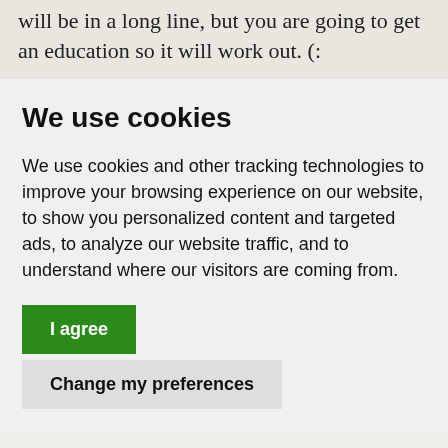will be in a long line, but you are going to get an education so it will work out. (:
We use cookies
We use cookies and other tracking technologies to improve your browsing experience on our website, to show you personalized content and targeted ads, to analyze our website traffic, and to understand where our visitors are coming from.
I agree
Change my preferences